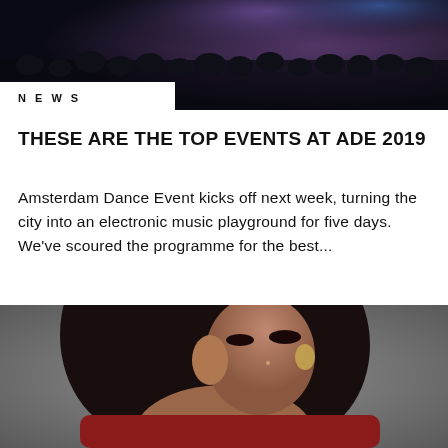[Figure (photo): Dark crowd scene at a nightclub or music event, atmospheric lighting with blues and purples, dense group of people]
NEWS
THESE ARE THE TOP EVENTS AT ADE 2019
Amsterdam Dance Event kicks off next week, turning the city into an electronic music playground for five days. We've scoured the programme for the best...
[Figure (photo): Young woman with long dark hair, dramatic eye makeup, large ornate earring, wearing a red top, posed against a grey background]